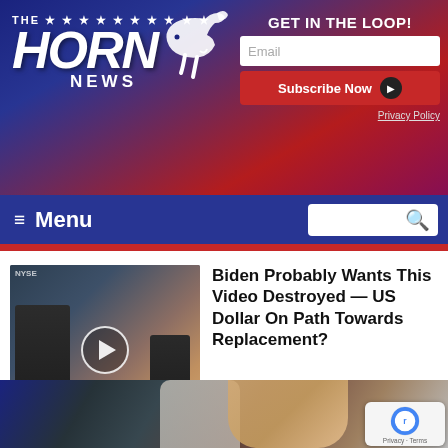[Figure (screenshot): The Horn News website header banner with logo, bull icon, and newsletter signup]
GET IN THE LOOP!
Email
Subscribe Now
Privacy Policy
≡ Menu
Biden Probably Wants This Video Destroyed — US Dollar On Path Towards Replacement?
🔥 111,486
Watch The Video
Sponsored Ad
[Figure (photo): Photo of Donald Trump gesturing in front of American flags]